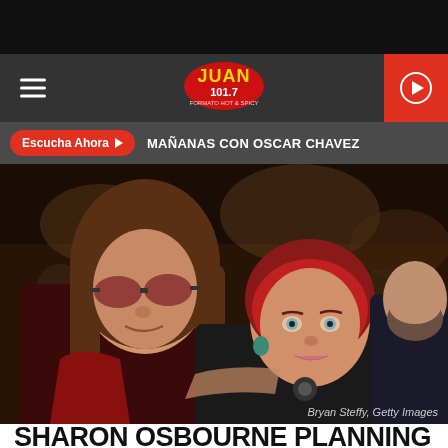[Figure (screenshot): Juan 101.7 radio station navigation bar with hamburger menu, logo, and red play button]
Escucha Ahora ▶  MAÑANAS CON OSCAR CHAVEZ
[Figure (photo): Ozzy Osbourne and Sharon Osbourne posing together at an event. Ozzy has long brown hair and tinted sunglasses, Sharon has short red hair. Photo credit: Bryan Steffy, Getty Images]
SHARON OSBOURNE PLANNING